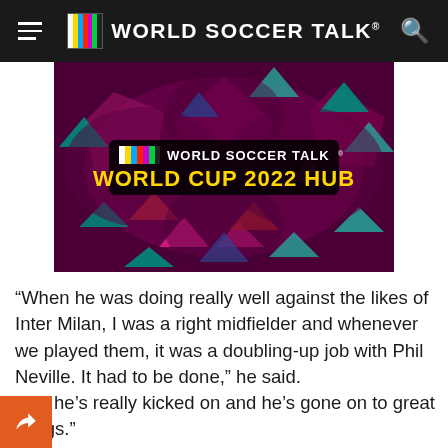WORLD SOCCER TALK®
[Figure (illustration): World Soccer Talk World Cup 2022 Hub banner image with colorful geometric pattern on dark purple background]
“When he was doing really well against the likes of Inter Milan, I was a right midfielder and whenever we played them, it was a doubling-up job with Phil Neville. It had to be done,” he said.
“But he’s really kicked on and he’s gone on to great things.”